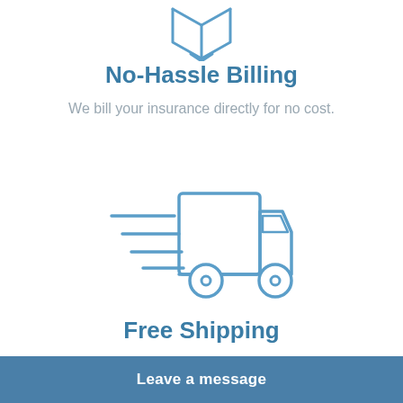[Figure (illustration): Partial box/package icon in blue outline, cropped at top of page]
No-Hassle Billing
We bill your insurance directly for no cost.
[Figure (illustration): Delivery truck icon in blue outline style with speed lines indicating fast shipping]
Free Shipping
Enjoy free shipping on all orders.
Leave a message